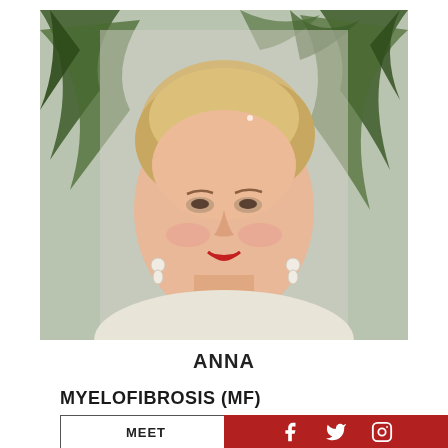[Figure (photo): Portrait photo of a smiling middle-aged woman with short blonde hair and pearl drop earrings, wearing a light-colored top, with palm fronds in the background.]
ANNA
MYELOFIBROSIS (MF)
MEET